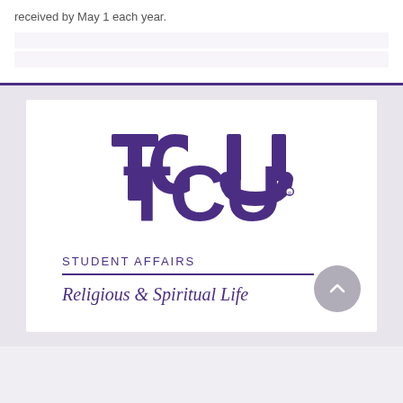received by May 1 each year.
[Figure (logo): TCU Student Affairs – Religious & Spiritual Life logo. Purple TCU wordmark with 'STUDENT AFFAIRS' below and 'Religious & Spiritual Life' beneath a purple rule.]